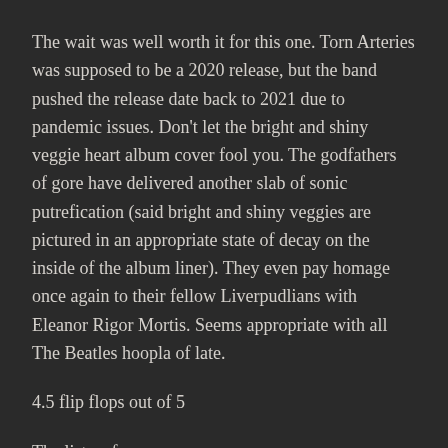The wait was well worth it for this one. Torn Arteries was supposed to be a 2020 release, but the band pushed the release date back to 2021 due to pandemic issues. Don't let the bright and shiny veggie heart album cover fool you. The godfathers of gore have delivered another slab of sonic putrefication (said bright and shiny veggies are pictured in an appropriate state of decay on the inside of the album liner). They even pay homage once again to their fellow Liverpudlians with Eleanor Rigor Mortis. Seems appropriate with all The Beatles hoopla of late.
4.5 flip flops out of 5
The list so far: